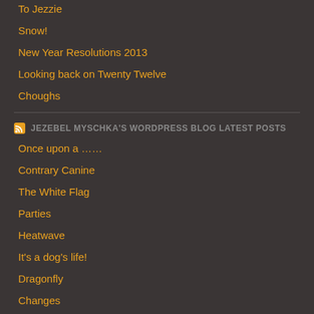To Jezzie
Snow!
New Year Resolutions 2013
Looking back on Twenty Twelve
Choughs
JEZEBEL MYSCHKA'S WORDPRESS BLOG LATEST POSTS
Once upon a ……
Contrary Canine
The White Flag
Parties
Heatwave
It's a dog's life!
Dragonfly
Changes
Adieu
Angels White Heaven
FOLLOW JEZEBEL MYSCHKA ON TWITTER
[Figure (other): Twitter Follow button: Follow @JezebelMyschka]